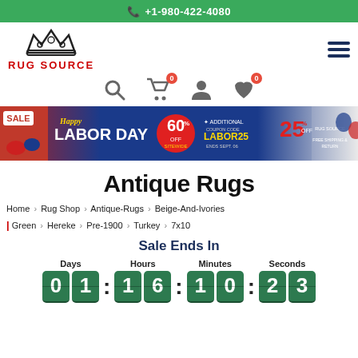+1-980-422-4080
[Figure (logo): Rug Source logo with crown and text RUG SOURCE in red]
[Figure (infographic): Happy Labor Day sale banner: 60% off sitewide + additional 25% off with coupon code LABOR25, ends Sept. 06, Free Shipping & Return]
Antique Rugs
Home > Rug Shop > Antique-Rugs > Beige-And-Ivories | Green > Hereke > Pre-1900 > Turkey > 7x10
Sale Ends In
Days: 01 Hours: 16 Minutes: 10 Seconds: 23